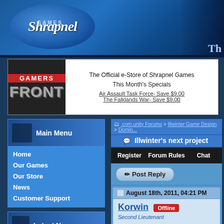[Figure (screenshot): Shrapnel Games website header banner with logo oval and blue gradient background]
[Figure (screenshot): Gamers Front e-store banner with logo and month specials]
The Official e-Store of Shrapnel Games
This Month's Specials
Air Assault Task Force- Save $9.00
The Falklands War- Save $9.00
Main Menu
Home
Our Games
Our Store
News
Customer Support
Latest News
We've Got Your Six! The 2022 winSPWW2 and winSPMBT Upgrade Patches are In!
.com.unity Forums > Illwinter Game Design > Domin...
Illwinter's next project
Register    Forum Rules    Chat
Post Reply
August 18th, 2011, 04:21 PM
Korwin  Offline
Second Lieutenant
Re: Illwinter's next project